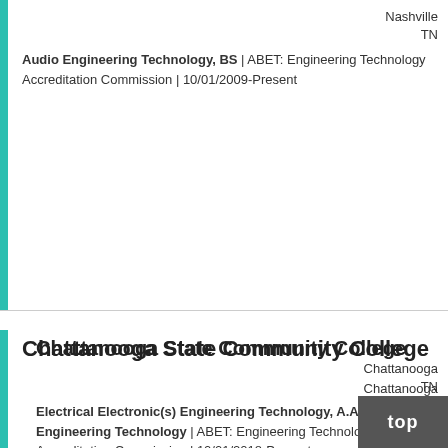Nashville
TN
Audio Engineering Technology, BS | ABET: Engineering Technology Accreditation Commission | 10/01/2009-Present
Chattanooga State Community College
Chattanooga
TN
Electrical Electronic(s) Engineering Technology, A.A.S. EE Engineering Technology | ABET: Engineering Technology Accreditation Commission | 10/01/2018-Present
Engineering Systems Technology, A.A.S. Engineering Systems Technology | ABET: Engineering Technology Accreditation Commission | 10/01/2016-Present